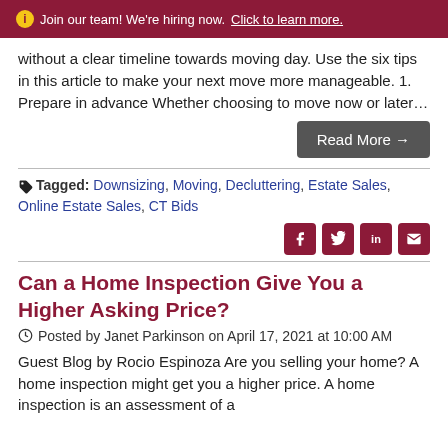ℹ Join our team! We're hiring now. Click to learn more.
without a clear timeline towards moving day. Use the six tips in this article to make your next move more manageable. 1. Prepare in advance Whether choosing to move now or later…
Read More →
Tagged: Downsizing, Moving, Decluttering, Estate Sales, Online Estate Sales, CT Bids
[Figure (other): Social share icons: Facebook, Twitter, LinkedIn, Email]
Can a Home Inspection Give You a Higher Asking Price?
Posted by Janet Parkinson on April 17, 2021 at 10:00 AM
Guest Blog by Rocio Espinoza Are you selling your home? A home inspection might get you a higher price. A home inspection is an assessment of a